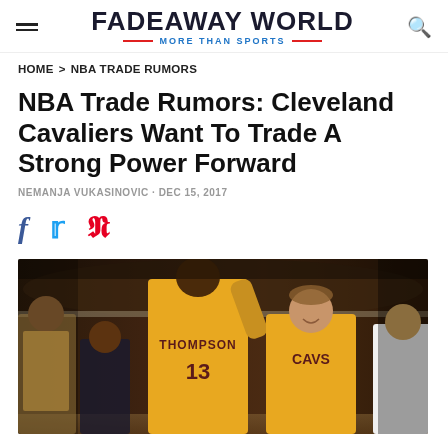FADEAWAY WORLD — MORE THAN SPORTS
HOME > NBA TRADE RUMORS
NBA Trade Rumors: Cleveland Cavaliers Want To Trade A Strong Power Forward
NEMANJA VUKASINOVIC · DEC 15, 2017
[Figure (other): Social sharing icons: Facebook, Twitter, Pinterest]
[Figure (photo): Basketball players in Cleveland Cavaliers gold jerseys on court. Player #13 THOMPSON with arm raised, another Cavs player and opponents visible.]